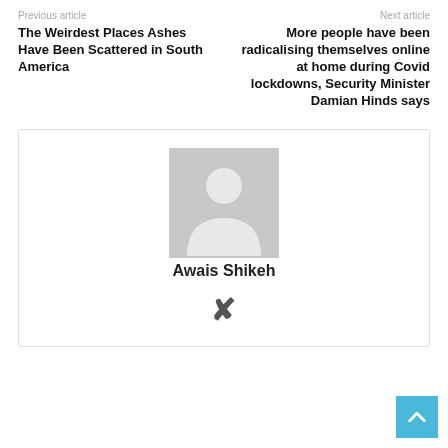Previous article
Next article
The Weirdest Places Ashes Have Been Scattered in South America
More people have been radicalising themselves online at home during Covid lockdowns, Security Minister Damian Hinds says
[Figure (illustration): Author avatar placeholder: grey silhouette of a person on grey background]
Awais Shikeh
[Figure (logo): Xing social media icon]